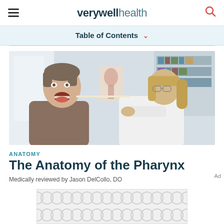verywell health
Table of Contents
[Figure (photo): A doctor examining a male patient's throat/pharynx with a tongue depressor in a clinical setting with bookshelves in the background]
ANATOMY
The Anatomy of the Pharynx
Medically reviewed by Jason DelCollo, DO